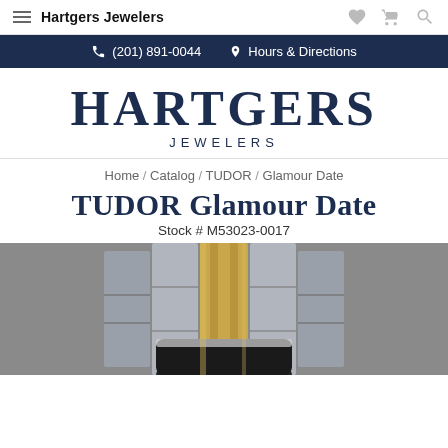Hartgers Jewelers
☎ (201) 891-0044   📍 Hours & Directions
[Figure (logo): Hartgers Jewelers logo — large serif text HARTGERS above smaller spaced JEWELERS]
Home / Catalog / TUDOR / Glamour Date
TUDOR Glamour Date
Stock # M53023-0017
[Figure (photo): Photo of TUDOR Glamour Date watch showing two-tone steel and gold bracelet with black dial, partial view from top]